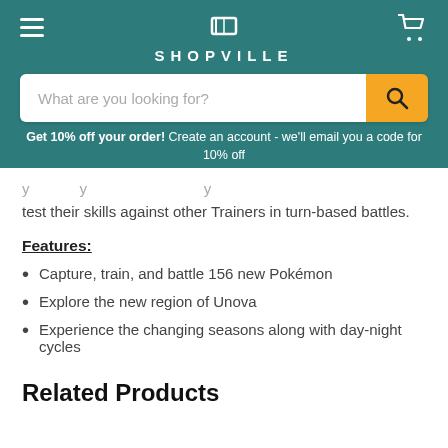SHOPVILLE
Get 10% off your order! Create an account - we'll email you a code for 10% off
...test their skills against other Trainers in turn-based battles.
Features:
Capture, train, and battle 156 new Pokémon
Explore the new region of Unova
Experience the changing seasons along with day-night cycles
Related Products